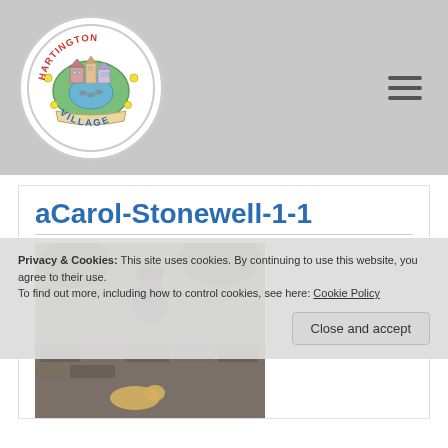[Figure (logo): Hartington Village circular logo with illustrated village buildings, pond, ducks, flowers, and text 'HARTINGTON VILLAGE' around the border]
aCarol-Stonewell-1-1
[Figure (photo): Outdoor photo of a person standing near a stone wall with a dog, appears to be in a village or countryside setting]
Privacy & Cookies: This site uses cookies. By continuing to use this website, you agree to their use.
To find out more, including how to control cookies, see here: Cookie Policy
Close and accept